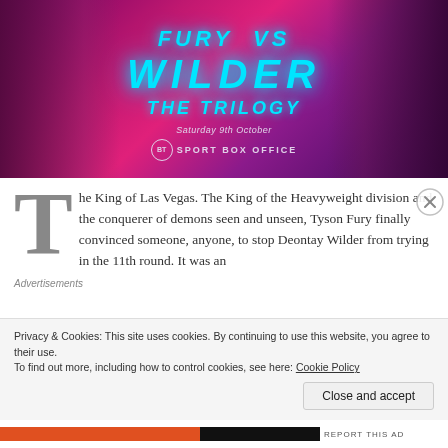[Figure (photo): Fury vs Wilder The Trilogy promotional banner. Pink/purple background with two fighters facing each other. Text reads: WILDER / THE TRILOGY / Saturday 9th October / BT SPORT BOX OFFICE]
The King of Las Vegas. The King of the Heavyweight division and the conquerer of demons seen and unseen, Tyson Fury finally convinced someone, anyone, to stop Deontay Wilder from trying in the 11th round. It was an
Advertisements
Privacy & Cookies: This site uses cookies. By continuing to use this website, you agree to their use.
To find out more, including how to control cookies, see here: Cookie Policy
Close and accept